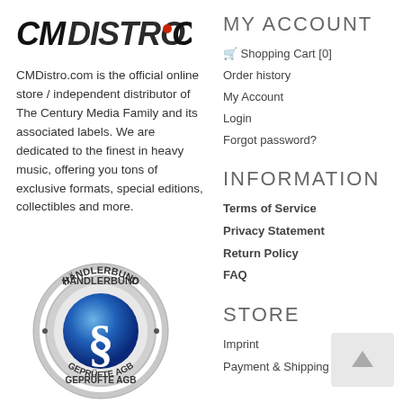[Figure (logo): CMDISTRO.COM logo in bold black grunge style font with red dot in the .com portion]
CMDistro.com is the official online store / independent distributor of The Century Media Family and its associated labels. We are dedicated to the finest in heavy music, offering you tons of exclusive formats, special editions, collectibles and more.
[Figure (logo): Händlerbund Geprüfte AGB circular badge with blue Section symbol (§) in center, silver/metallic ring border]
MY ACCOUNT
🛒 Shopping Cart [0]
Order history
My Account
Login
Forgot password?
INFORMATION
Terms of Service
Privacy Statement
Return Policy
FAQ
STORE
Imprint
Payment & Shipping